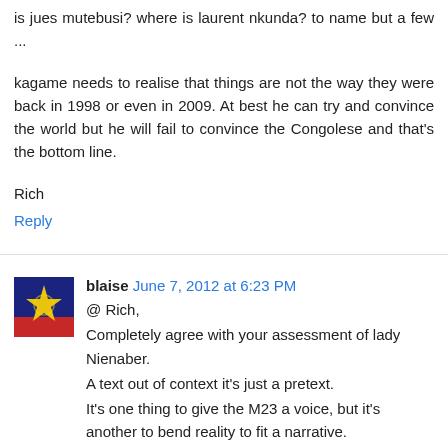is jues mutebusi? where is laurent nkunda? to name but a few ...
kagame needs to realise that things are not the way they were back in 1998 or even in 2009. At best he can try and convince the world but he will fail to convince the Congolese and that's the bottom line.
Rich
Reply
blaise June 7, 2012 at 6:23 PM
@ Rich,
Completely agree with your assessment of lady Nienaber.
A text out of context it's just a pretext.
It's one thing to give the M23 a voice, but it's another to bend reality to fit a narrative.
The example she gave about the Kishanga massacre was astonishing. I didn't know that the Cndp had another chief beside general Nkunda(lol). Apparently she is not aware of